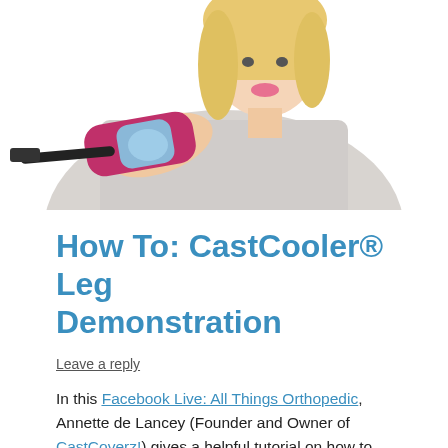[Figure (photo): Smiling blonde woman wearing a grey top, holding a pink and blue CastCooler device on her wrist/forearm, with a black hose attached to it.]
How To: CastCooler® Leg Demonstration
Leave a reply
In this Facebook Live: All Things Orthopedic, Annette de Lancey (Founder and Owner of CastCoverz!) gives a helpful tutorial on how to use CastCooler®